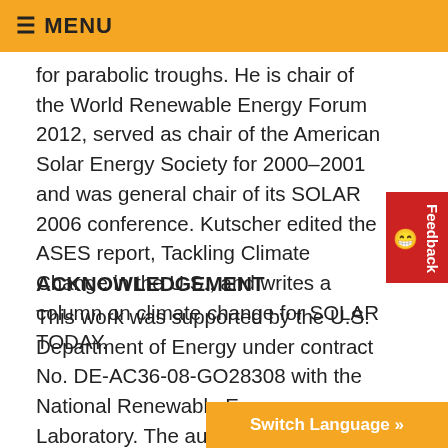≡ MENU
for parabolic troughs. He is chair of the World Renewable Energy Forum 2012, served as chair of the American Solar Energy Society for 2000–2001 and was general chair of its SOLAR 2006 conference. Kutscher edited the ASES report, Tackling Climate Change in the U.S., and writes a column on climate change for SOLAR TODAY.
ACKNOWLEDGEMENT
This work was supported by the U.S. Department of Energy under contract No. DE-AC36-08-GO28308 with the National Renewable Energy Laboratory. The authors thank Allison Gray for her input, Devonie McCamey and Raymond David at NREL for publication and graphic support.